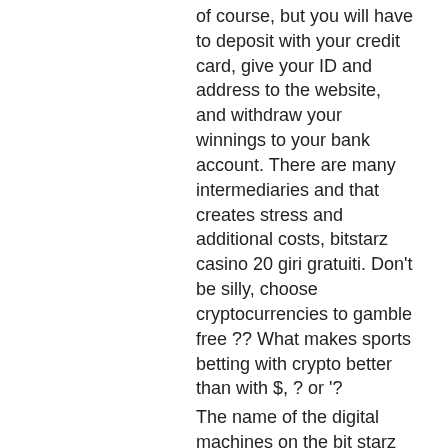of course, but you will have to deposit with your credit card, give your ID and address to the website, and withdraw your winnings to your bank account. There are many intermediaries and that creates stress and additional costs, bitstarz casino 20 giri gratuiti. Don't be silly, choose cryptocurrencies to gamble free ?? What makes sports betting with crypto better than with $, ? or '?
The name of the digital machines on the bit starz site is placed in a stable alphabetical order. Each gamer can go to different slots, at least. The player can get this from the help button located on the right of the. You should familiarize yourself with the games available to you (based on your location) and determine your preferred methods of depositing funds as well as. Find out what kind of casino games you can play on bitstarz. Remember to check the different hyperlinks located around the site. They